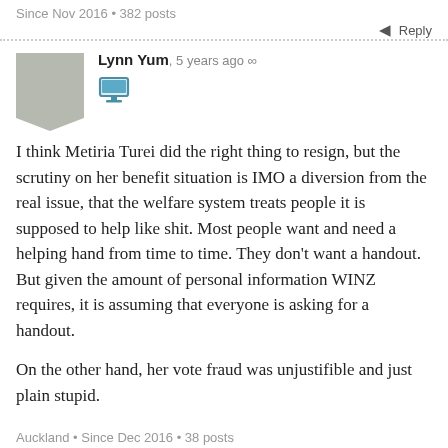Since Nov 2016 • 382 posts
Reply
Lynn Yum, 5 years ago ∞
I think Metiria Turei did the right thing to resign, but the scrutiny on her benefit situation is IMO a diversion from the real issue, that the welfare system treats people it is supposed to help like shit. Most people want and need a helping hand from time to time. They don't want a handout. But given the amount of personal information WINZ requires, it is assuming that everyone is asking for a handout.
On the other hand, her vote fraud was unjustifible and just plain stupid.
Auckland • Since Dec 2016 • 38 posts
Reply
simon g, 5 years ago ∞